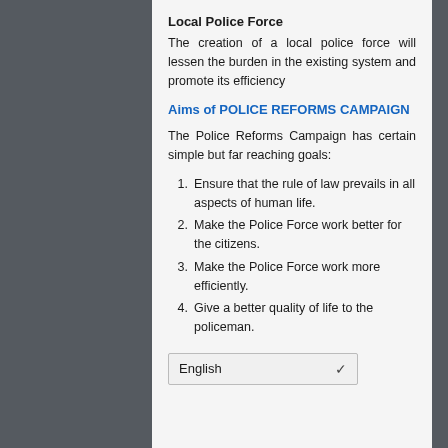Local Police Force
The creation of a local police force will lessen the burden in the existing system and promote its efficiency
Aims of POLICE REFORMS CAMPAIGN
The Police Reforms Campaign has certain simple but far reaching goals:
Ensure that the rule of law prevails in all aspects of human life.
Make the Police Force work better for the citizens.
Make the Police Force work more efficiently.
Give a better quality of life to the policeman.
English